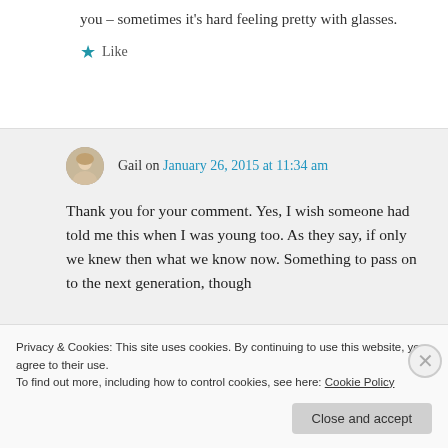you – sometimes it's hard feeling pretty with glasses.
★ Like
Gail on January 26, 2015 at 11:34 am
Thank you for your comment. Yes, I wish someone had told me this when I was young too. As they say, if only we knew then what we know now. Something to pass on to the next generation, though
Privacy & Cookies: This site uses cookies. By continuing to use this website, you agree to their use.
To find out more, including how to control cookies, see here: Cookie Policy
Close and accept